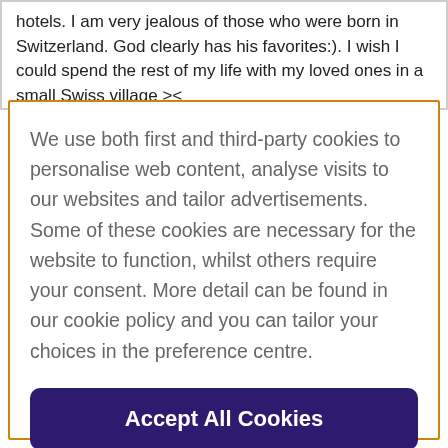hotels. I am very jealous of those who were born in Switzerland. God clearly has his favorites:). I wish I could spend the rest of my life with my loved ones in a small Swiss village ><
We use both first and third-party cookies to personalise web content, analyse visits to our websites and tailor advertisements. Some of these cookies are necessary for the website to function, whilst others require your consent. More detail can be found in our cookie policy and you can tailor your choices in the preference centre.
Accept All Cookies
Cookies Settings